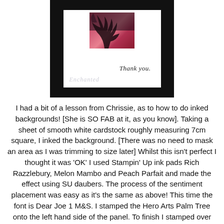[Figure (photo): A greeting card photograph showing a black-framed card with a small pink/red inked background square featuring a dark palm tree silhouette, 'Thank you' handwritten sentiment, and 'Enchanted' watermark at the bottom left.]
I had a bit of a lesson from Chrissie, as to how to do inked backgrounds! [She is SO FAB at it, as you know]. Taking a sheet of smooth white cardstock roughly measuring 7cm square, I inked the background. [There was no need to mask an area as I was trimming to size later] Whilst this isn't perfect I thought it was 'OK' I used Stampin' Up ink pads Rich Razzlebury, Melon Mambo and Peach Parfait and made the effect using SU daubers. The process of the sentiment placement was easy as it's the same as above! This time the font is Dear Joe 1 M&S. I stamped the Hero Arts Palm Tree onto the left hand side of the panel. To finish I stamped over the square with Versamark and heat